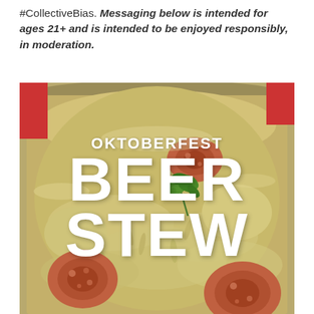#CollectiveBias. Messaging below is intended for ages 21+ and is intended to be enjoyed responsibly, in moderation.
[Figure (photo): A pot of Oktoberfest beer stew with sausage slices, sauerkraut, potatoes, and a parsley garnish. Bold white text overlaid reads 'OKTOBERFEST BEER STEW'.]